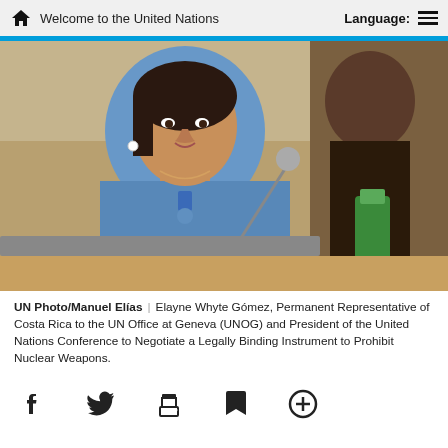Welcome to the United Nations | Language:
[Figure (photo): Elayne Whyte Gómez, Permanent Representative of Costa Rica to the UN Office at Geneva (UNOG), speaking at a podium with a microphone, wearing a blue jacket.]
UN Photo/Manuel Elías | Elayne Whyte Gómez, Permanent Representative of Costa Rica to the UN Office at Geneva (UNOG) and President of the United Nations Conference to Negotiate a Legally Binding Instrument to Prohibit Nuclear Weapons.